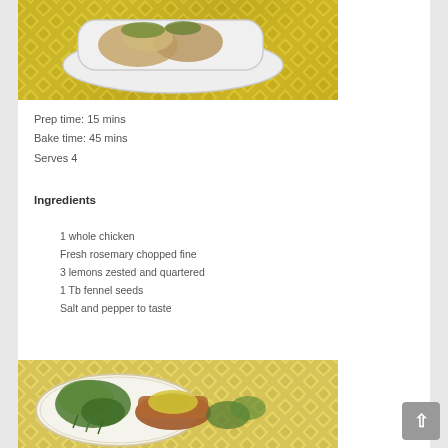[Figure (photo): Photo of baked chicken in a white baking dish on a yellow diamond-pattern tablecloth, with herbs on top]
Prep time: 15 mins
Bake time: 45 mins
Serves 4
Ingredients
1 whole chicken
Fresh rosemary chopped fine
3 lemons zested and quartered
1 Tb fennel seeds
Salt and pepper to taste
[Figure (photo): Photo of fresh herbs and a small clay bowl with yellow lemon zest or spice on a floral-rimmed white plate, on yellow diamond-pattern tablecloth]